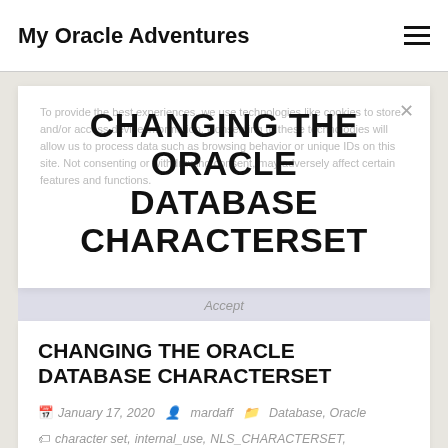My Oracle Adventures
CHANGING THE ORACLE DATABASE CHARACTERSET
To provide the best experiences, we use technologies like cookies to store and/or access device information. Consenting to these technologies will allow us to process data such as browsing behavior or unique IDs on this site. Not consenting or withdrawing consent, may adversely affect certain features and functions.
CHANGING THE ORACLE DATABASE CHARACTERSET
January 17, 2020  mardaff  Database, Oracle  character set, internal_use, NLS_CHARACTERSET, nls_parameters